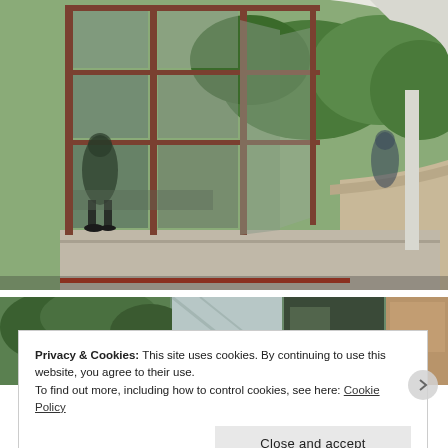[Figure (photo): Exterior view of a modernist glass building with folding/bifold glass and metal frame doors open, reflecting visitors inside. Surrounded by green trees, with a curved white wall on the right and a paved terrace.]
[Figure (photo): Strip of smaller thumbnail photos showing interior and exterior views of the same modernist glass building with trees visible through windows.]
Privacy & Cookies: This site uses cookies. By continuing to use this website, you agree to their use.
To find out more, including how to control cookies, see here: Cookie Policy
Close and accept